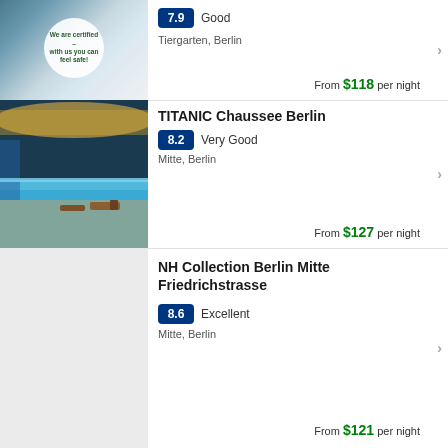[Figure (photo): Hotel room photo with certification badge overlay — partial view at top]
7.9  Good
Tiergarten, Berlin
From $118 per night
[Figure (photo): TITANIC Chaussee Berlin indoor pool photo]
TITANIC Chaussee Berlin
8.2  Very Good
Mitte, Berlin
From $127 per night
[Figure (photo): NH Collection Berlin Mitte Friedrichstrasse — placeholder grey image]
NH Collection Berlin Mitte Friedrichstrasse
8.6  Excellent
Mitte, Berlin
From $121 per night